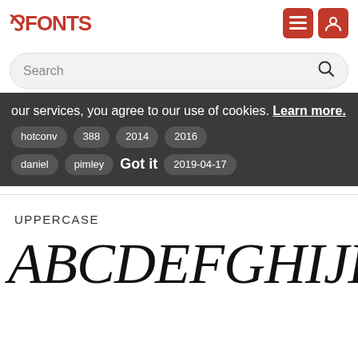[Figure (logo): FFONTS logo in bold red with hamburger menu and user icon buttons]
Search
our services, you agree to our use of cookies. Learn more. Got it
hotconv  388  2014  2016
daniel  pimley  2019-04-17
UPPERCASE
ABCDEFGHIJKLM